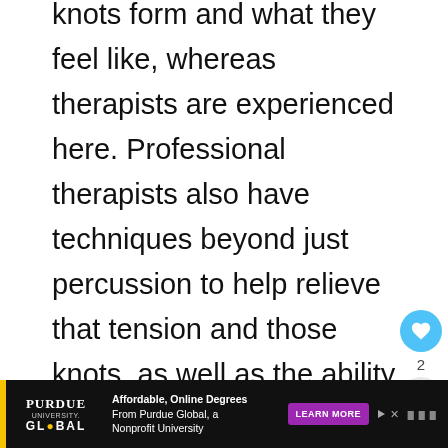knots form and what they feel like, whereas therapists are experienced here. Professional therapists also have techniques beyond just percussion to help relieve that tension and those knots, as well as the ability to reach areas like the back that are not reachable by an individual conducting a personal
[Figure (other): Social interaction buttons: heart/like button (blue circle with heart icon), like count '2', and share button (grey circle with share icon)]
[Figure (other): Advertisement banner for Purdue University Global: 'Affordable, Online Degrees From Purdue Global, a Nonprofit University' with a purple 'LEARN MORE' button. Black background with yellow vertical bar and Purdue Global logo.]